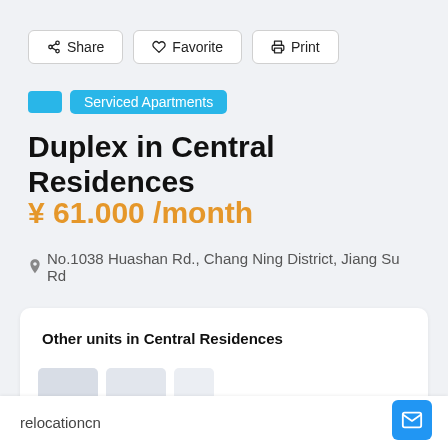Share
Favorite
Print
Serviced Apartments
Duplex in Central Residences
¥ 61.000 /month
No.1038 Huashan Rd., Chang Ning District, Jiang Su Rd
Other units in Central Residences
relocationcn